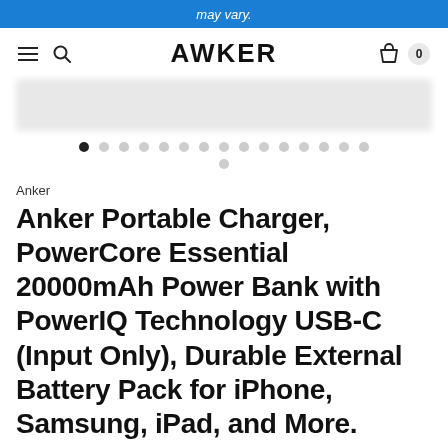may vary.
[Figure (screenshot): Anker website navigation bar with hamburger menu, search icon, AWKER logo, and cart icon showing 0 items]
[Figure (photo): Blurred/redacted product image area with carousel dots below]
Anker
Anker Portable Charger, PowerCore Essential 20000mAh Power Bank with PowerIQ Technology USB-C (Input Only), Durable External Battery Pack for iPhone, Samsung, iPad, and More.